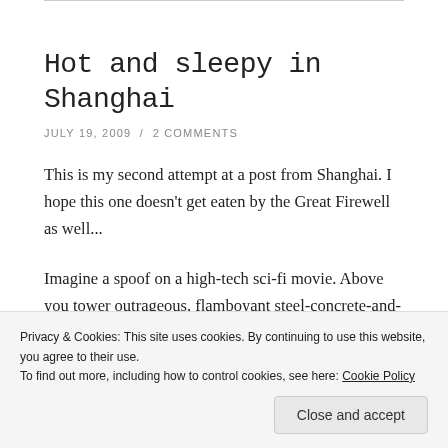Hot and sleepy in Shanghai
JULY 19, 2009 / 2 COMMENTS
This is my second attempt at a post from Shanghai. I hope this one doesn't get eaten by the Great Firewell as well...
Imagine a spoof on a high-tech sci-fi movie. Above you tower outrageous, flamboyant steel-concrete-and-glass
Privacy & Cookies: This site uses cookies. By continuing to use this website, you agree to their use.
To find out more, including how to control cookies, see here: Cookie Policy
Close and accept
in the breeze, the chiming of little bells you hear. Only